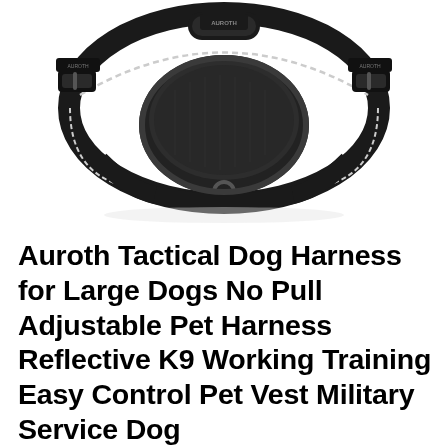[Figure (photo): Product photo of a black tactical dog harness viewed from above/front, showing padded chest piece, adjustable straps with reflective stitching, quick-release buckles, and a D-ring attachment at the bottom front. White background.]
Auroth Tactical Dog Harness for Large Dogs No Pull Adjustable Pet Harness Reflective K9 Working Training Easy Control Pet Vest Military Service Dog